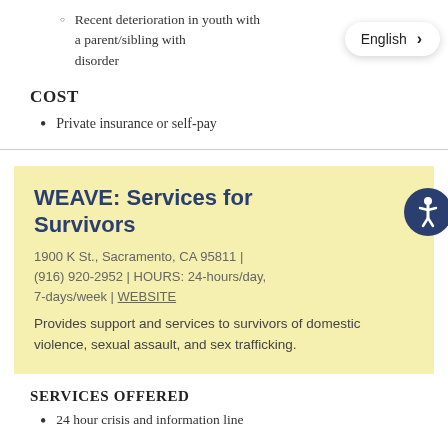Recent deterioration in youth with a parent/sibling with disorder
COST
Private insurance or self-pay
WEAVE: Services for Survivors
1900 K St., Sacramento, CA 95811 | (916) 920-2952 | HOURS: 24-hours/day, 7-days/week | WEBSITE
Provides support and services to survivors of domestic violence, sexual assault, and sex trafficking.
SERVICES OFFERED
24 hour crisis and information line